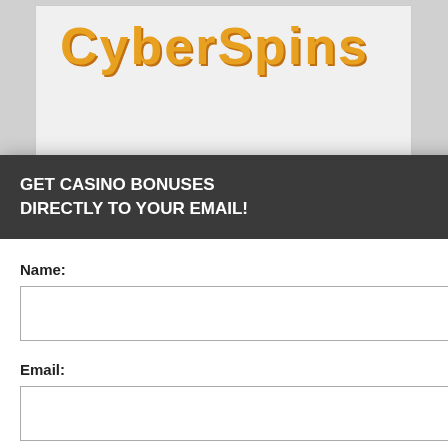[Figure (screenshot): CyberSpins casino website screenshot in background showing logo and partial content with orange divider line and dark cookie consent overlay]
GET CASINO BONUSES DIRECTLY TO YOUR EMAIL!
Name:
Email:
Submit
By subscribing you are certifying that you have reviewed and accepted our updated Privacy and Cookie policy.